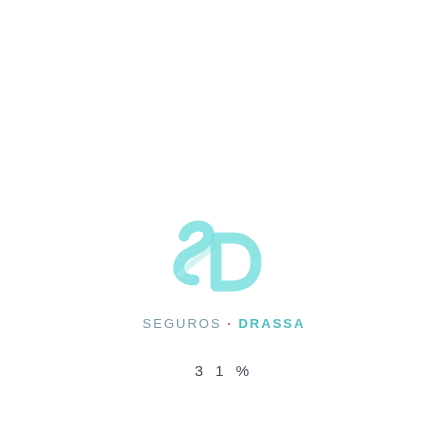[Figure (logo): Seguros Drassa logo: teal/turquoise stylized 'SD' swoosh icon above the text 'SEGUROS · DRASSA' in spaced letters, with 'SEGUROS' in grey-blue and 'DRASSA' in teal, separated by a red/orange dot]
31%